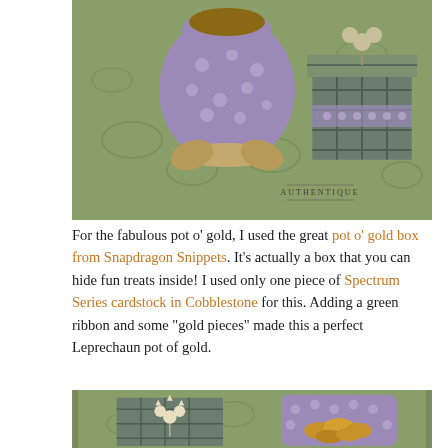[Figure (photo): Photo of a purple polka-dot fabric pot o' gold box tied with a burlap ribbon and a plaid gift box with shamrock decorations, sitting on a green patterned background. AUTHENTIQUE watermark visible.]
For the fabulous pot o' gold, I used the great pot o' gold box from Snapdragon Snippets. It's actually a box that you can hide fun treats inside! I used only one piece of Spectrum Series cardstock in Cobblestone for this. Adding a green ribbon and some "gold pieces" made this a perfect Leprechaun pot of gold.
[Figure (photo): Two photos side by side: left shows a plaid gift box with a cream shamrock decoration; right shows the purple polka-dot container open and filled with gold coins.]